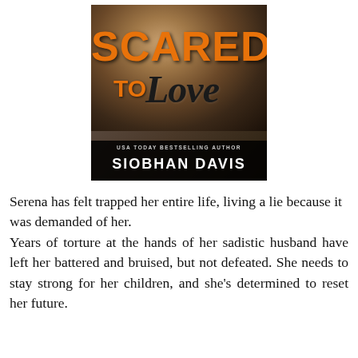[Figure (illustration): Book cover for 'Scared to Love' by Siobhan Davis. Shows a couple embracing against a dark background. Title 'SCARED' in large orange block letters, 'TO' in orange, 'Love' in dark italic script. Bottom bar reads 'USA TODAY BESTSELLING AUTHOR' and 'SIOBHAN DAVIS' in white on black.]
Serena has felt trapped her entire life, living a lie because it was demanded of her. Years of torture at the hands of her sadistic husband have left her battered and bruised, but not defeated. She needs to stay strong for her children, and she's determined to reset her future.